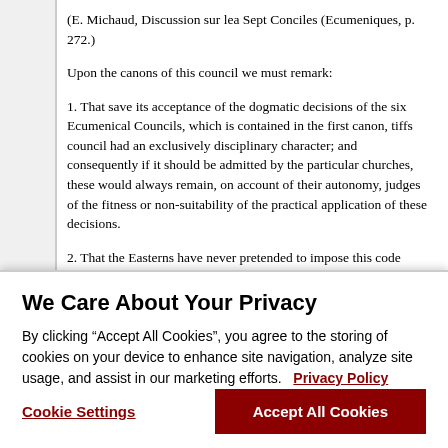(E. Michaud, Discussion sur lea Sept Conciles (Ecumeniques, p. 272.)
Upon the canons of this council we must remark:
1. That save its acceptance of the dogmatic decisions of the six Ecumenical Councils, which is contained in the first canon, tiffs council had an exclusively disciplinary character; and consequently if it should be admitted by the particular churches, these would always remain, on account of their autonomy, judges of the fitness or non-suitability of the practical application of these decisions.
2. That the Easterns have never pretended to impose this code upon the practice of the Western Churches, especially
We Care About Your Privacy
By clicking “Accept All Cookies”, you agree to the storing of cookies on your device to enhance site navigation, analyze site usage, and assist in our marketing efforts.   Privacy Policy
Cookie Settings
Accept All Cookies